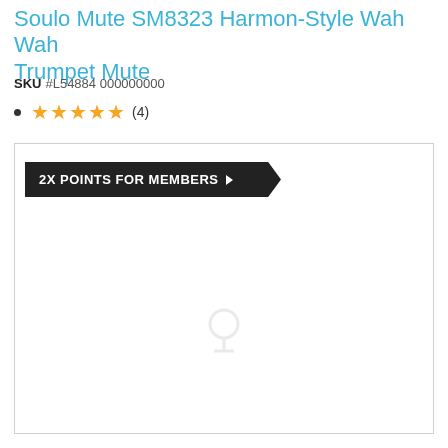Soulo Mute SM8323 Harmon-Style Wah Wah Trumpet Mute
SKU #L54884 000000000
★★★★★ (4)
[Figure (other): Promotional box with dark banner reading '2X POINTS FOR MEMBERS' with right-pointing arrow, white background area below]
2X POINTS FOR MEMBERS ▶